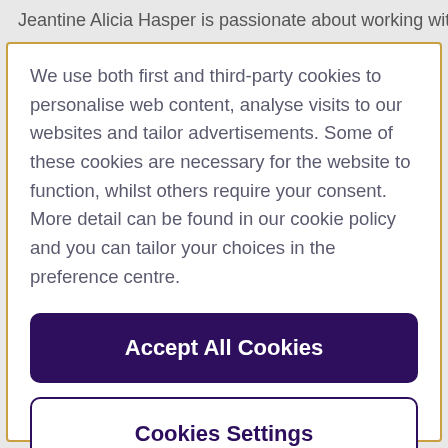Jeantine Alicia Hasper is passionate about working with
We use both first and third-party cookies to personalise web content, analyse visits to our websites and tailor advertisements. Some of these cookies are necessary for the website to function, whilst others require your consent. More detail can be found in our cookie policy and you can tailor your choices in the preference centre.
Accept All Cookies
Cookies Settings